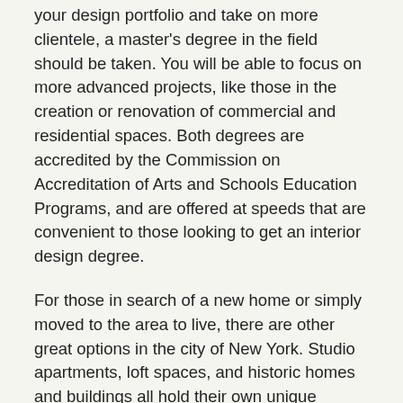your design portfolio and take on more clientele, a master's degree in the field should be taken. You will be able to focus on more advanced projects, like those in the creation or renovation of commercial and residential spaces. Both degrees are accredited by the Commission on Accreditation of Arts and Schools Education Programs, and are offered at speeds that are convenient to those looking to get an interior design degree.
For those in search of a new home or simply moved to the area to live, there are other great options in the city of New York. Studio apartments, loft spaces, and historic homes and buildings all hold their own unique character, so no matter the degree you are seeking, you should be able to find something to suit your needs. There is also a growing need for interior designers in the New York area due to the rising cost of living, and the need for creative solutions. Syranny Fann, situated in the fashionable East Village, offers affordable living, and hosts design shows featuring